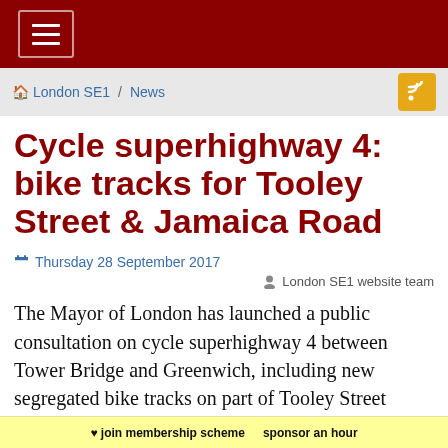≡
🏠 London SE1 / News
Cycle superhighway 4: bike tracks for Tooley Street & Jamaica Road
Thursday 28 September 2017
London SE1 website team
The Mayor of London has launched a public consultation on cycle superhighway 4 between Tower Bridge and Greenwich, including new segregated bike tracks on part of Tooley Street
♥ join membership scheme   sponsor an hour